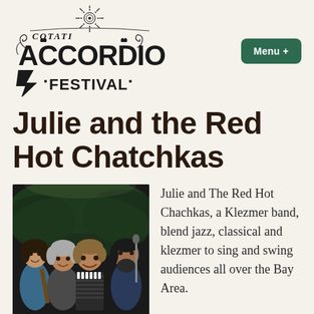[Figure (logo): Cotati Accordion Festival decorative logo with accordion imagery and lightning bolt]
Julie and the Red Hot Chatchkas
[Figure (photo): Four musicians posing together, one playing accordion, outdoors at night]
Julie and The Red Hot Chachkas, a Klezmer band, blend jazz, classical and klezmer to sing and swing audiences all over the Bay Area.